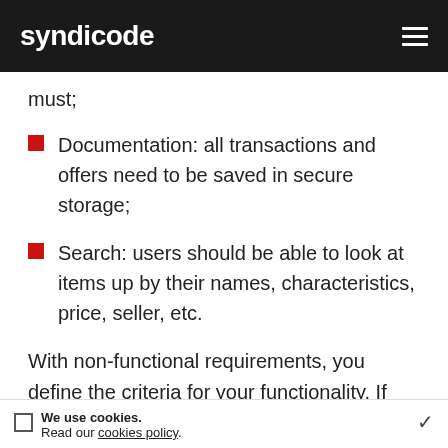syndicode
must;
Documentation: all transactions and offers need to be saved in secure storage;
Search: users should be able to look at items up by their names, characteristics, price, seller, etc.
With non-functional requirements, you define the criteria for your functionality. If before you de… you are thinking about how to do it. Non-functional requirements
We use cookies. Read our cookies policy.